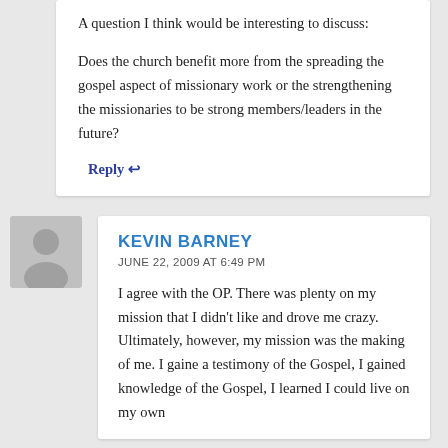A question I think would be interesting to discuss:
Does the church benefit more from the spreading the gospel aspect of missionary work or the strengthening the missionaries to be strong members/leaders in the future?
Reply
KEVIN BARNEY
JUNE 22, 2009 AT 6:49 PM
I agree with the OP. There was plenty on my mission that I didn't like and drove me crazy. Ultimately, however, my mission was the making of me. I gaine a testimony of the Gospel, I gained knowledge of the Gospel, I learned I could live on my own